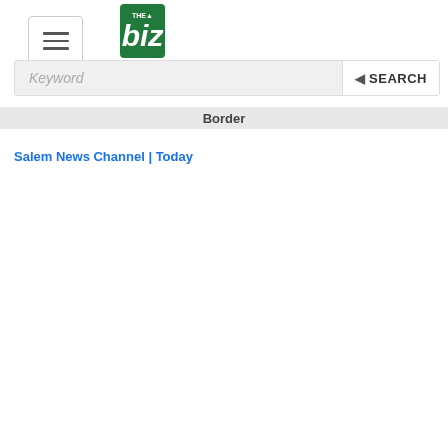The Biz | Keyword SEARCH
Border
Salem News Channel | Today